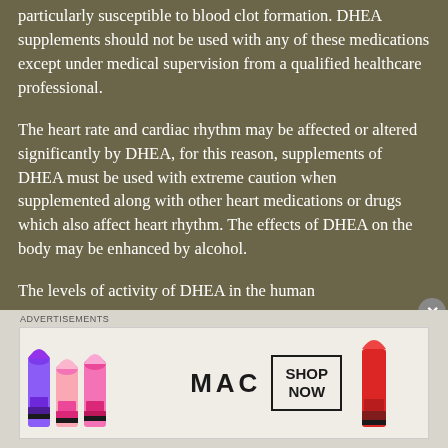particularly susceptible to blood clot formation. DHEA supplements should not be used with any of these medications except under medical supervision from a qualified healthcare professional.
The heart rate and cardiac rhythm may be affected or altered significantly by DHEA, for this reason, supplements of DHEA must be used with extreme caution when supplemented along with other heart medications or drugs which also affect heart rhythm. The effects of DHEA on the body may be enhanced by alcohol.
The levels of activity of DHEA in the human
Advertisements
[Figure (illustration): MAC Cosmetics advertisement banner showing colorful lipsticks on the left and right sides, MAC logo in the center, and a SHOP NOW box on the right side.]